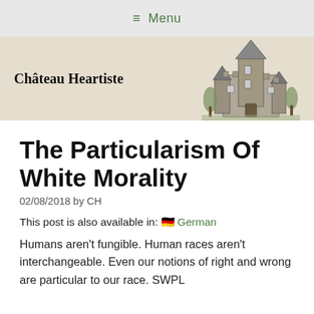≡ Menu
Château Heartiste
[Figure (illustration): Black and white sketch of a castle/chateau building]
The Particularism Of White Morality
02/08/2018 by CH
This post is also available in: 🇩🇪 German
Humans aren't fungible. Human races aren't interchangeable. Even our notions of right and wrong are particular to our race. SWPL